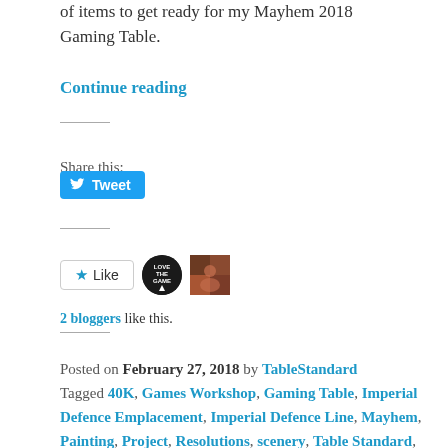of items to get ready for my Mayhem 2018 Gaming Table.
Continue reading
Share this:
[Figure (other): Twitter Tweet button (blue rounded button with bird icon and 'Tweet' text)]
[Figure (other): Like button with star icon, and two blogger avatars (circular dark badge and square colorful image)]
2 bloggers like this.
Posted on February 27, 2018 by TableStandard Tagged 40K, Games Workshop, Gaming Table, Imperial Defence Emplacement, Imperial Defence Line, Mayhem, Painting, Project, Resolutions, scenery, Table Standard, Wall of Martyrs, Warhammer 40000, Warhammer 40K, Wh40k. Leave a comment